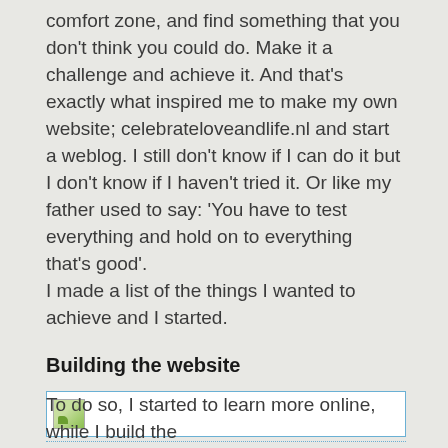comfort zone, and find something that you don't think you could do. Make it a challenge and achieve it. And that's exactly what inspired me to make my own website; celebrateloveandlife.nl and start a weblog. I still don't know if I can do it but I don't know if I haven't tried it. Or like my father used to say: 'You have to test everything and hold on to everything that's good'. I made a list of the things I wanted to achieve and I started.
Building the website
[Figure (photo): Broken/placeholder image icon inside a dotted blue border box]
To do so, I started to learn more online, while I build the...